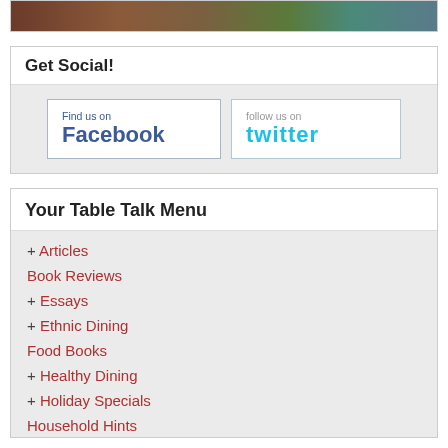[Figure (photo): Partial view of a person and colorful background, cropped at top]
Get Social!
[Figure (infographic): Find us on Facebook button and follow us on twitter button side by side]
Your Table Talk Menu
+ Articles
Book Reviews
+ Essays
+ Ethnic Dining
Food Books
+ Healthy Dining
+ Holiday Specials
Household Hints